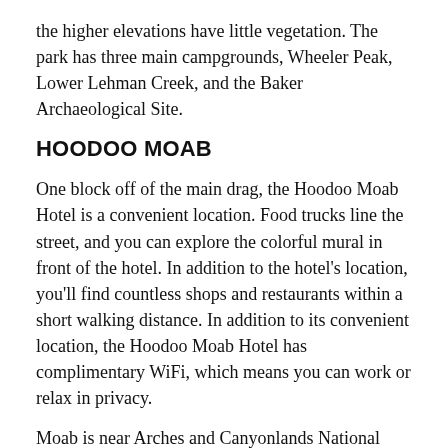the higher elevations have little vegetation. The park has three main campgrounds, Wheeler Peak, Lower Lehman Creek, and the Baker Archaeological Site.
HOODOO MOAB
One block off of the main drag, the Hoodoo Moab Hotel is a convenient location. Food trucks line the street, and you can explore the colorful mural in front of the hotel. In addition to the hotel's location, you'll find countless shops and restaurants within a short walking distance. In addition to its convenient location, the Hoodoo Moab Hotel has complimentary WiFi, which means you can work or relax in privacy.
Moab is near Arches and Canyonlands National Parks. The Potash Road is 15 miles long, but the more scenic Hwy 128 goes deeper into the park. You'll pass through Castle Valley, which is dotted with solitary buttes, reminiscent of Monument Valley. Along the way, you'll encounter the Fisher Towers, a series of unusual vertical cliffs. These are